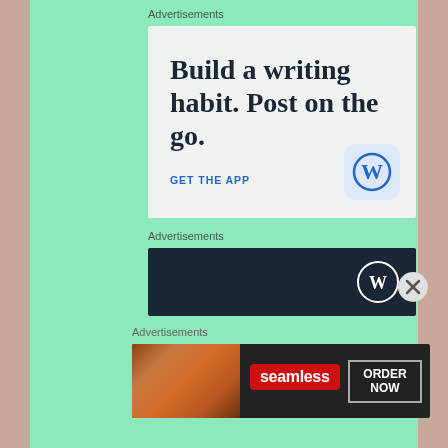Advertisements
[Figure (screenshot): WordPress app advertisement with large serif text 'Build a writing habit. Post on the go.' and blue 'GET THE APP' call to action, with WordPress circular icon in bottom right corner on light grey background.]
Advertisements
[Figure (screenshot): Dark navy WordPress banner advertisement with white WordPress 'W' circle logo on right side.]
Advertisements
[Figure (screenshot): Seamless food delivery advertisement on dark background with pizza image on left, red 'seamless' brand logo in center, and 'ORDER NOW' button with grey border on right.]